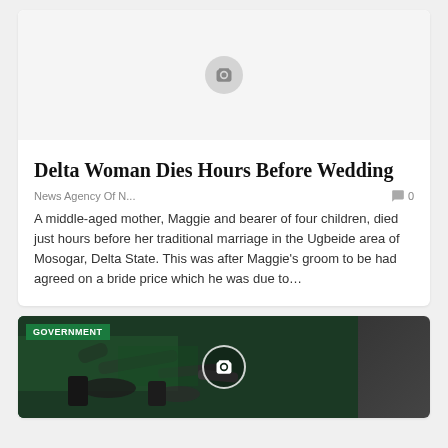[Figure (photo): Placeholder image area with camera icon for article about Delta Woman]
Delta Woman Dies Hours Before Wedding
News Agency Of N...
0
A middle-aged mother, Maggie and bearer of four children, died just hours before her traditional marriage in the Ugbeide area of Mosogar, Delta State. This was after Maggie's groom to be had agreed on a bride price which he was due to…
[Figure (photo): Photo of fuel nozzles/gas station pumps with GOVERNMENT tag label]